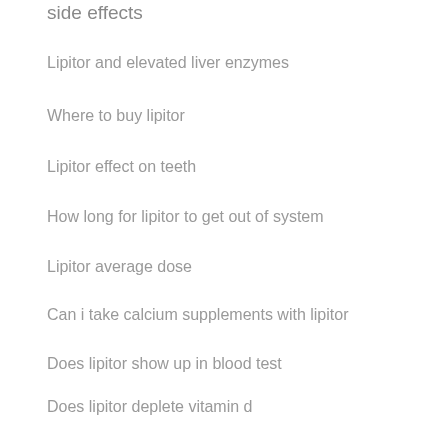side effects
Lipitor and elevated liver enzymes
Where to buy lipitor
Lipitor effect on teeth
How long for lipitor to get out of system
Lipitor average dose
Can i take calcium supplements with lipitor
Does lipitor show up in blood test
Does lipitor deplete vitamin d
How to come off lipitor safely
Lipitor induced dementia
Lipitor espanol